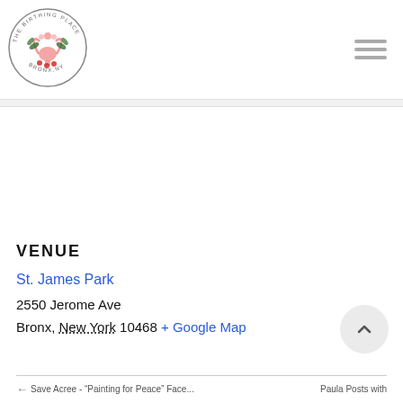[Figure (logo): The Birthing Place Bronx NY circular logo with floral uterus illustration]
VENUE
St. James Park
2550 Jerome Ave
Bronx, New York 10468 + Google Map
Save Acree - "Painting for Peace" Face-
Paula Poets with